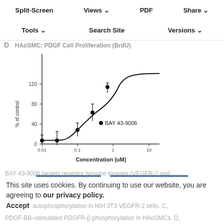Split-Screen  Views  PDF  Share
Tools  Search Site  Versions
D  HAoSMC: PDGF Cell Proliferation (BrdU)
[Figure (continuous-plot): Dose-response sigmoid curve showing % of control vs Concentration (uM) for BAY 43-9006. X-axis is logarithmic from 0.01 to 10+ uM. Y-axis goes from 0 to 120 % of control. Data points with error bars shown at approximately 0.01, 0.03, 0.1, 0.3, and 0.7 uM concentrations. Curve is sigmoidal.]
VIEW LARGE   DOWNLOAD SLIDE
BAY 43-9006 targets receptor tyrosine kinases (VEGFR-2 and
This site uses cookies. By continuing to use our website, you are agreeing to our privacy policy. Accept
autophosphorylation in NIH 3T3 VEGFR-2 cells. C, PDGF-BB–stimulated PDGFR-β phosphorylation in HAoSMCs. D,